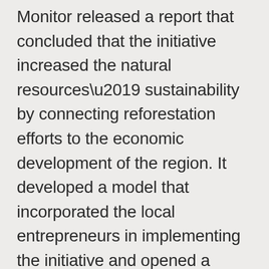Monitor released a report that concluded that the initiative increased the natural resources' sustainability by connecting reforestation efforts to the economic development of the region. It developed a model that incorporated the local entrepreneurs in implementing the initiative and opened a considerable number of jobs in the process.  “At the same time, illegal logging has been almost eliminated in the province following strict disciplinary action against some officials who were involved. Other measures include hiring local people to guard forests and banning wood transportation”, the Christian Science Monitor reports.